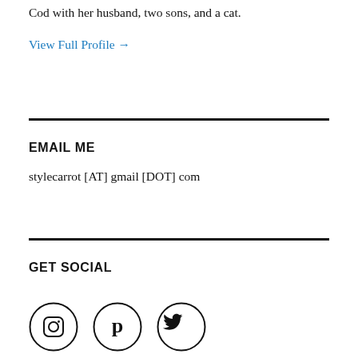Cod with her husband, two sons, and a cat.
View Full Profile →
EMAIL ME
stylecarrot [AT] gmail [DOT] com
GET SOCIAL
[Figure (illustration): Three social media icons in circles: Instagram, Pinterest, Twitter]